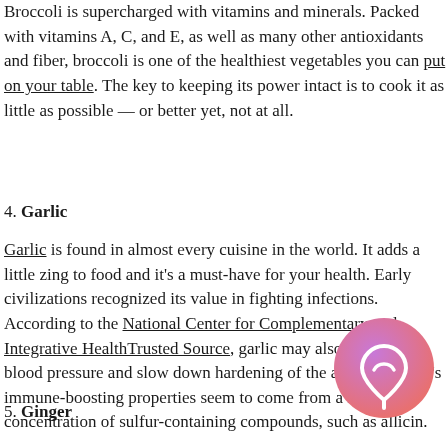Broccoli is supercharged with vitamins and minerals. Packed with vitamins A, C, and E, as well as many other antioxidants and fiber, broccoli is one of the healthiest vegetables you can put on your table. The key to keeping its power intact is to cook it as little as possible — or better yet, not at all.
4. Garlic
Garlic is found in almost every cuisine in the world. It adds a little zing to food and it's a must-have for your health. Early civilizations recognized its value in fighting infections. According to the National Center for Complementary and Integrative HealthTrusted Source, garlic may also help lower blood pressure and slow down hardening of the arteries. Garlic's immune-boosting properties seem to come from a heavy concentration of sulfur-containing compounds, such as allicin.
5. Ginger
[Figure (logo): Purple/pink gradient circular logo with a stylized wave or location-pin icon in white]